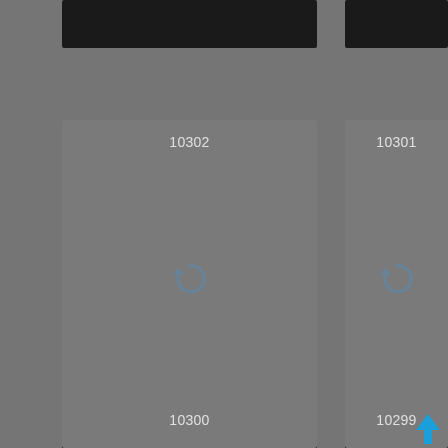[Figure (screenshot): Product catalog grid showing items 10302 (Bottle display) and 10301 (Curved box) as image cards with refresh/loading icons, plus partial views of items 10300 and 10299 at the bottom. Dark background with gray card panels.]
10302
Bottle display
10301
Curved box
10300
10299